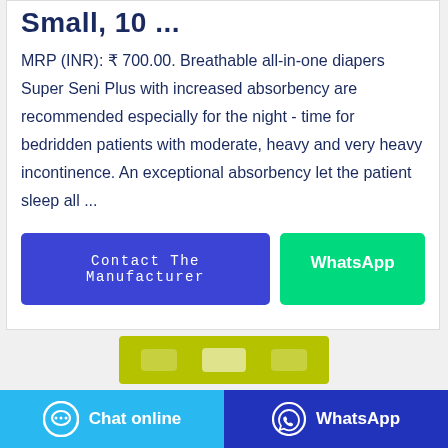Small, 10 ...
MRP (INR): ₹ 700.00. Breathable all-in-one diapers Super Seni Plus with increased absorbency are recommended especially for the night - time for bedridden patients with moderate, heavy and very heavy incontinence. An exceptional absorbency let the patient sleep all ...
[Figure (screenshot): Two buttons: 'Contact The Manufacturer' (blue/purple) and 'WhatsApp' (green)]
[Figure (photo): Partial product image strip showing a yellow-green diaper package]
[Figure (screenshot): Bottom navigation bar with 'Chat online' (light blue) and 'WhatsApp' (dark blue) buttons]